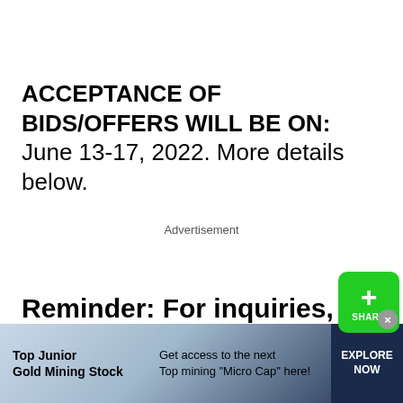ACCEPTANCE OF BIDS/OFFERS WILL BE ON: June 13-17, 2022. More details below.
Advertisement
Reminder: For inquiries, more property details/clarification, please contact DepEd...
[Figure (infographic): Bottom advertisement banner: Top Junior Gold Mining Stock — Get access to the next Top mining Micro Cap here! EXPLORE NOW]